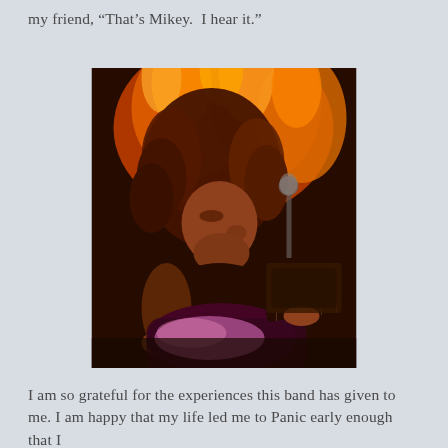my friend, “That’s Mikey.  I hear it.”
[Figure (photo): A musician with long curly hair playing an electric guitar on stage, with dramatic orange and yellow flame lighting behind them, leaning toward a microphone. The guitar body is illuminated in purple/pink light against the dark stage background.]
I am so grateful for the experiences this band has given to me. I am happy that my life led me to Panic early enough that I